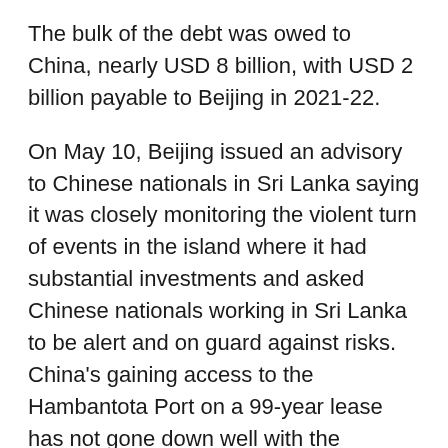The bulk of the debt was owed to China, nearly USD 8 billion, with USD 2 billion payable to Beijing in 2021-22.
On May 10, Beijing issued an advisory to Chinese nationals in Sri Lanka saying it was closely monitoring the violent turn of events in the island where it had substantial investments and asked Chinese nationals working in Sri Lanka to be alert and on guard against risks. China's gaining access to the Hambantota Port on a 99-year lease has not gone down well with the patriotic Lankans, as per the media reports. (ANI)